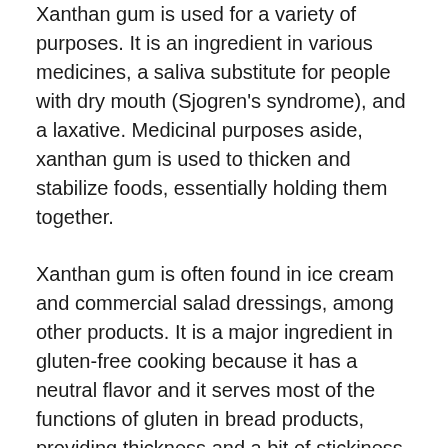Xanthan gum is used for a variety of purposes. It is an ingredient in various medicines, a saliva substitute for people with dry mouth (Sjogren's syndrome), and a laxative. Medicinal purposes aside, xanthan gum is used to thicken and stabilize foods, essentially holding them together.
Xanthan gum is often found in ice cream and commercial salad dressings, among other products. It is a major ingredient in gluten-free cooking because it has a neutral flavor and it serves most of the functions of gluten in bread products, providing thickness and a bit of stickiness. It can also be used with other ingredients to emulsify sauces and soups. Xanthan gum is not made from animal products, so undoubtedly it's commonly used in vegan bakeries and similar venues.
At Liquid Health, we use xanthan gum extensively. 18 of our 29 products feature xanthan gum to give them that